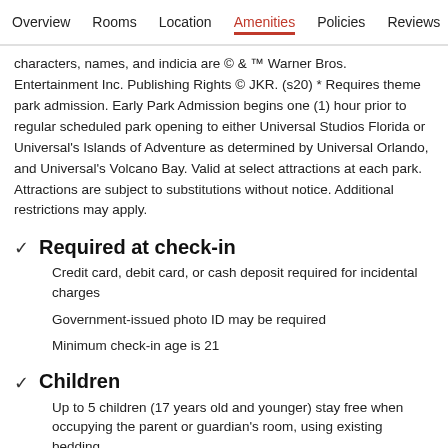Overview  Rooms  Location  Amenities  Policies  Reviews
characters, names, and indicia are © & ™ Warner Bros. Entertainment Inc. Publishing Rights © JKR. (s20) * Requires theme park admission. Early Park Admission begins one (1) hour prior to regular scheduled park opening to either Universal Studios Florida or Universal's Islands of Adventure as determined by Universal Orlando, and Universal's Volcano Bay. Valid at select attractions at each park. Attractions are subject to substitutions without notice. Additional restrictions may apply.
Required at check-in
Credit card, debit card, or cash deposit required for incidental charges
Government-issued photo ID may be required
Minimum check-in age is 21
Children
Up to 5 children (17 years old and younger) stay free when occupying the parent or guardian's room, using existing bedding